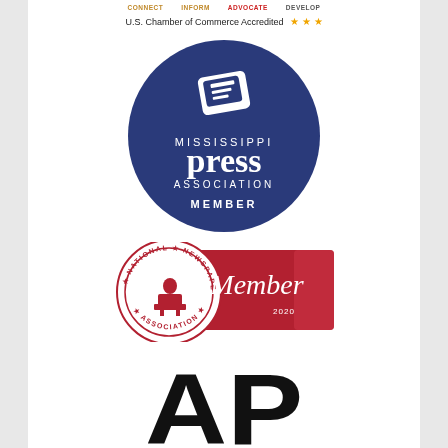CONNECT   INFORM   ADVOCATE   DEVELOP
U.S. Chamber of Commerce Accredited ★ ★ ★
[Figure (logo): Mississippi Press Association Member logo — dark navy blue circle with white newspaper graphic and text: MISSISSIPPI press ASSOCIATION MEMBER]
[Figure (logo): National Newspaper Association Member 2020 badge — circular red seal with printer figure and text NATIONAL NEWSPAPER ASSOCIATION, with red rectangle and cursive Member text and year 2020]
[Figure (logo): AP (Associated Press) logo — large bold black letters AP]